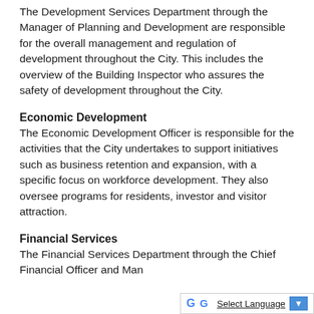The Development Services Department through the Manager of Planning and Development are responsible for the overall management and regulation of development throughout the City. This includes the overview of the Building Inspector who assures the safety of development throughout the City.
Economic Development
The Economic Development Officer is responsible for the activities that the City undertakes to support initiatives such as business retention and expansion, with a specific focus on workforce development. They also oversee programs for residents, investor and visitor attraction.
Financial Services
The Financial Services Department through the Chief Financial Officer and Mana...